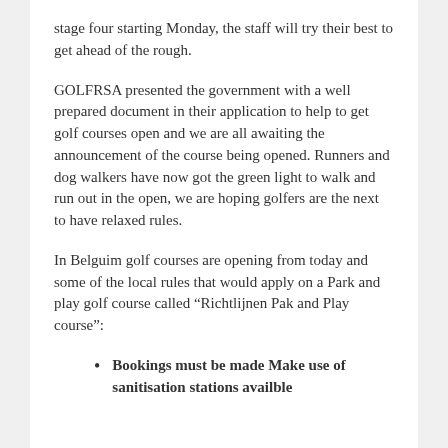stage four starting Monday, the staff will try their best to get ahead of the rough.
GOLFRSA presented the government with a well prepared document in their application to help to get golf courses open and we are all awaiting the announcement of the course being opened. Runners and dog walkers have now got the green light to walk and run out in the open, we are hoping golfers are the next to have relaxed rules.
In Belguim golf courses are opening from today and some of the local rules that would apply on a Park and play golf course called “Richtlijnen Pak and Play course”:
Bookings must be made Make use of sanitisation stations availble